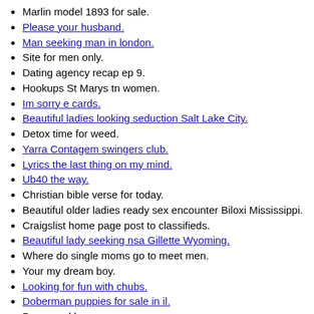Marlin model 1893 for sale.
Please your husband.
Man seeking man in london.
Site for men only.
Dating agency recap ep 9.
Hookups St Marys tn women.
Im sorry e cards.
Beautiful ladies looking seduction Salt Lake City.
Detox time for weed.
Yarra Contagem swingers club.
Lyrics the last thing on my mind.
Ub40 the way.
Christian bible verse for today.
Beautiful older ladies ready sex encounter Biloxi Mississippi.
Craigslist home page post to classifieds.
Beautiful lady seeking nsa Gillette Wyoming.
Where do single moms go to meet men.
Your my dream boy.
Looking for fun with chubs.
Doberman puppies for sale in il.
Prego and horny.
Hotel Del Rey Costa Rica